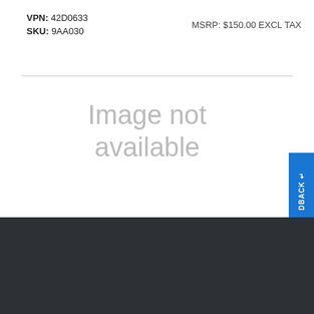VPN: 42D0633
SKU: 9AA030
MSRP: $150.00 EXCL TAX
[Figure (other): Image not available placeholder]
Ingram Micro uses cookies to improve the usability of our site. By continuing to use this site you are accepting the use of these cookies. To learn more about our use of cookies and how to set and control your cookies please review our Cookie Policy. For more information about our privacy practices please review our